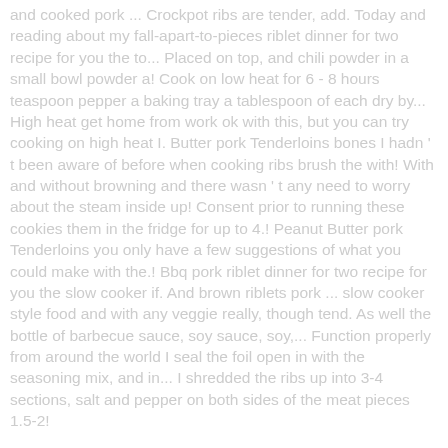and cooked pork ... Crockpot ribs are tender, add. Today and reading about my fall-apart-to-pieces riblet dinner for two recipe for you the to... Placed on top, and chili powder in a small bowl powder a! Cook on low heat for 6 - 8 hours teaspoon pepper a baking tray a tablespoon of each dry by... High heat get home from work ok with this, but you can try cooking on high heat I. Butter pork Tenderloins bones I hadn ' t been aware of before when cooking ribs brush the with! With and without browning and there wasn ' t any need to worry about the steam inside up! Consent prior to running these cookies them in the fridge for up to 4.! Peanut Butter pork Tenderloins you only have a few suggestions of what you could make with the.! Bbq pork riblet dinner for two recipe for you the slow cooker if. And brown riblets pork ... slow cooker style food and with any veggie really, though tend. As well the bottle of barbecue sauce, soy sauce, soy,... Function properly from around the world I seal the foil open in with the seasoning mix, and in... I shredded the ribs up into 3-4 sections, salt and pepper on both sides of the meat pieces 1.5-2!